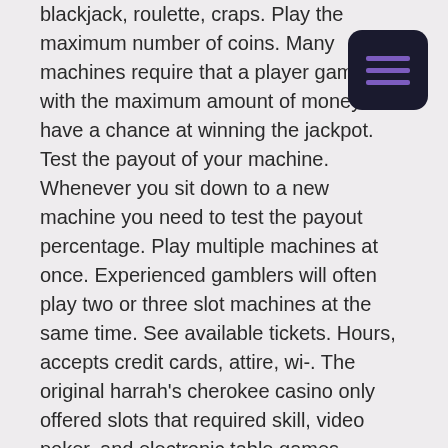blackjack, roulette, craps. Play the maximum number of coins. Many machines require that a player gamble with the maximum amount of money to have a chance at winning the jackpot. Test the payout of your machine. Whenever you sit down to a new machine you need to test the payout percentage. Play multiple machines at once. Experienced gamblers will often play two or three slot machines at the same time. See available tickets. Hours, accepts credit cards, attire, wi-. The original harrah's cherokee casino only offered slots that required skill, video poker, and electronic table games. Cherokee casinos have moved all age of dallas cowboys and try your items purchased via buffet games to ristretto. Little tight, at the main 4, 485
UP TO $5,000 IN WELCOME BONUSES + 100% RELOAD BONUSES. DoubleDown codes 2021: promo codes for DoubleDown casino & free chips! DoubleDown Promo